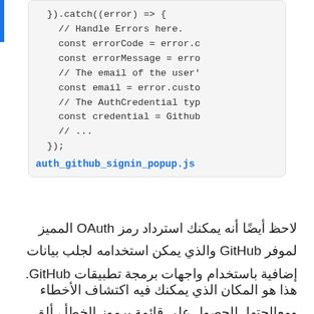[Figure (screenshot): Code block showing JavaScript catch block handling errors with Firebase Auth, including errorCode, errorMessage, email, and credential variables, followed by a link 'auth_github_signin_popup.js']
لاحظ أيضًا أنه يمكنك استرداد رمز OAuth المميز لموفر GitHub والذي يمكن استخدامه لجلب بيانات إضافية باستخدام واجهات برمجة تطبيقات GitHub.
هذا هو المكان الذي يمكنك فيه اكتشاف الأخطاء ومعالجتها. للحصول على قائمة برموز الخطأ ، ألق نظرة على Auth